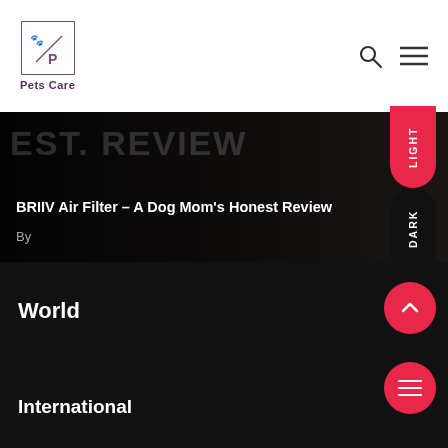[Figure (logo): Pets Care logo - a square bordered box with paw print and 'P' letter symbol, with 'Pets Care' text below]
BRIIV Air Filter – A Dog Mom's Honest Review
By
World
International